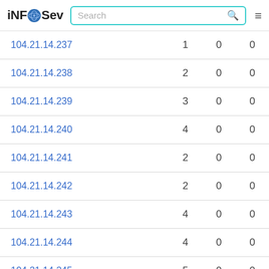iNFOSev | Search
| IP | Col2 | Col3 | Col4 |
| --- | --- | --- | --- |
| 104.21.14.237 | 1 | 0 | 0 |
| 104.21.14.238 | 2 | 0 | 0 |
| 104.21.14.239 | 3 | 0 | 0 |
| 104.21.14.240 | 4 | 0 | 0 |
| 104.21.14.241 | 2 | 0 | 0 |
| 104.21.14.242 | 2 | 0 | 0 |
| 104.21.14.243 | 4 | 0 | 0 |
| 104.21.14.244 | 4 | 0 | 0 |
| 104.21.14.245 | 5 | 0 | 0 |
| 104.21.14.246 | 3 | 0 | 0 |